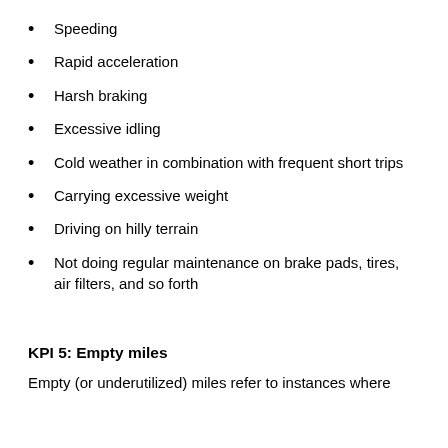Speeding
Rapid acceleration
Harsh braking
Excessive idling
Cold weather in combination with frequent short trips
Carrying excessive weight
Driving on hilly terrain
Not doing regular maintenance on brake pads, tires, air filters, and so forth
KPI 5: Empty miles
Empty (or underutilized) miles refer to instances where